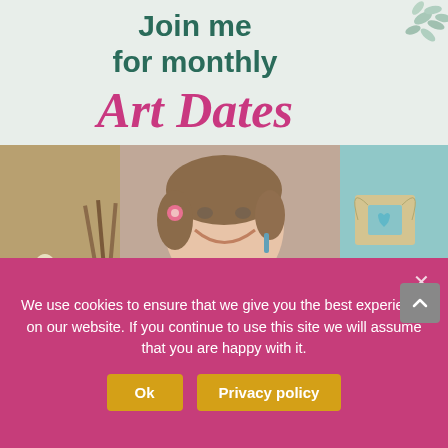Join me for monthly Art Dates
[Figure (photo): A smiling woman with short brown hair, a flower in her hair, wearing a pink blouse and yellow suspenders, posing in an art studio with brushes, flowers, and colorful artwork including a decorative bird with a heart motif and butterfly wings in the background.]
We use cookies to ensure that we give you the best experience on our website. If you continue to use this site we will assume that you are happy with it.
Ok
Privacy policy